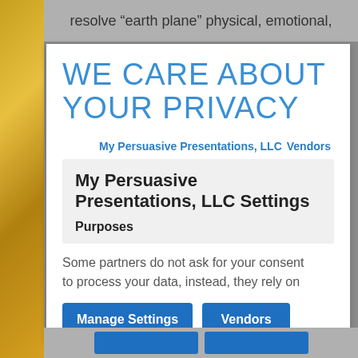resolve “earth plane” physical, emotional,
WE CARE ABOUT YOUR PRIVACY
My Persuasive Presentations, LLC   Vendors
My Persuasive Presentations, LLC Settings
Purposes
Some partners do not ask for your consent to process your data, instead, they rely on
Manage Settings   Vendors